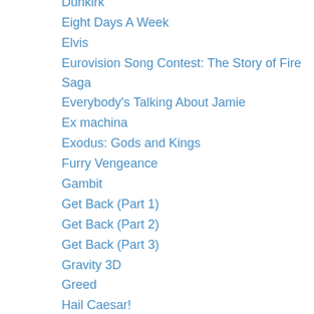Dunkirk
Eight Days A Week
Elvis
Eurovision Song Contest: The Story of Fire Saga
Everybody's Talking About Jamie
Ex machina
Exodus: Gods and Kings
Furry Vengeance
Gambit
Get Back (Part 1)
Get Back (Part 2)
Get Back (Part 3)
Gravity 3D
Greed
Hail Caesar!
Hanna
High Rise
Horrible Bosses
Hostiles
House of Gucci